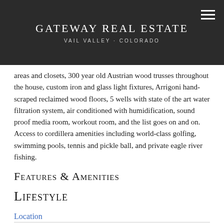Gateway Real Estate
Vail Valley · Colorado
areas and closets, 300 year old Austrian wood trusses throughout the house, custom iron and glass light fixtures, Arrigoni hand-scraped reclaimed wood floors, 5 wells with state of the art water filtration system, air conditioned with humidification, sound proof media room, workout room, and the list goes on and on. Access to cordillera amenities including world-class golfing, swimming pools, tennis and pickle ball, and private eagle river fishing.
Features & Amenities
Lifestyle
Location
See Beyond...